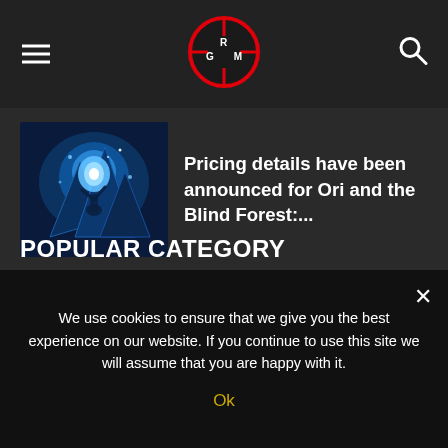RGM logo with hamburger menu and search icon
[Figure (photo): Ori and the Blind Forest game screenshot - blue fantasy scene with glowing character]
Pricing details have been announced for Ori and the Blind Forest:...
[Figure (photo): Call of Duty remastered game screenshot - dark futuristic scene with soldier]
You will be able to buy the remastered Call of Duty...
POPULAR CATEGORY
We use cookies to ensure that we give you the best experience on our website. If you continue to use this site we will assume that you are happy with it.
Ok